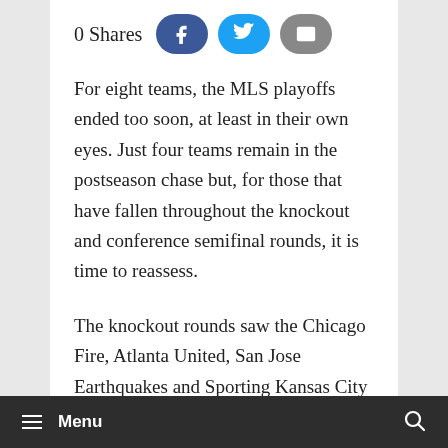[Figure (other): Share bar with '0 Shares' label and three social share buttons: Facebook (dark blue), Twitter (light blue), Email (gray)]
For eight teams, the MLS playoffs ended too soon, at least in their own eyes. Just four teams remain in the postseason chase but, for those that have fallen throughout the knockout and conference semifinal rounds, it is time to reassess.
The knockout rounds saw the Chicago Fire, Atlanta United, San Jose Earthquakes and Sporting Kansas City ejected from the playoffs, while the conference semis claimed NYCFC, the New York Red Bulls, Portland Timbers and
≡ Menu 🔍